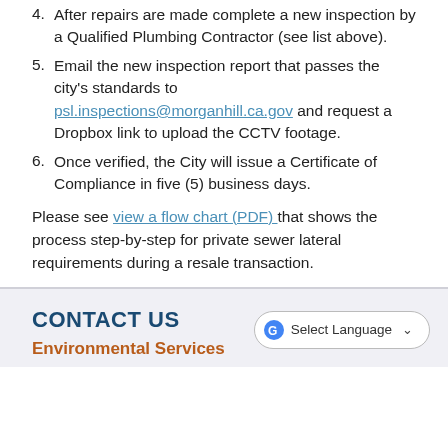4. After repairs are made complete a new inspection by a Qualified Plumbing Contractor (see list above).
5. Email the new inspection report that passes the city's standards to psl.inspections@morganhill.ca.gov and request a Dropbox link to upload the CCTV footage.
6. Once verified, the City will issue a Certificate of Compliance in five (5) business days.
Please see view a flow chart (PDF) that shows the process step-by-step for private sewer lateral requirements during a resale transaction.
CONTACT US
Environmental Services